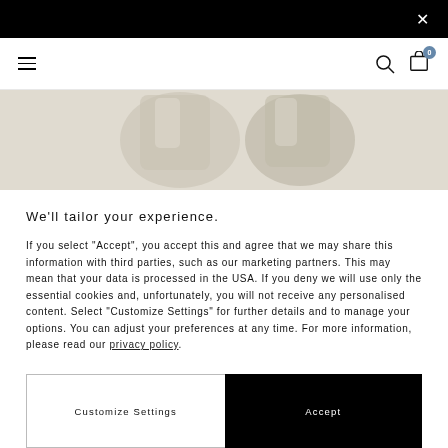[Figure (screenshot): Top black notification bar with close X button]
[Figure (screenshot): Navigation bar with hamburger menu, search icon, and shopping cart with badge showing 0]
[Figure (photo): Product image showing beige/cream colored boots or shoes]
We'll tailor your experience.
If you select "Accept", you accept this and agree that we may share this information with third parties, such as our marketing partners. This may mean that your data is processed in the USA. If you deny we will use only the essential cookies and, unfortunately, you will not receive any personalised content. Select "Customize Settings" for further details and to manage your options. You can adjust your preferences at any time. For more information, please read our privacy policy.